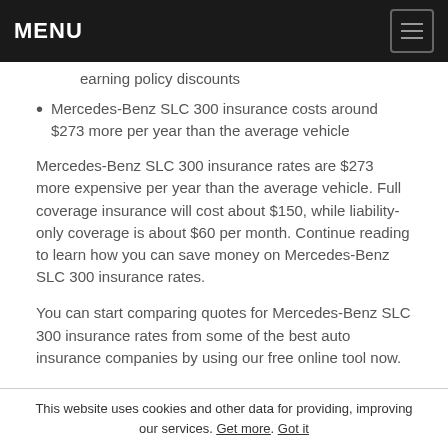MENU
earning policy discounts
Mercedes-Benz SLC 300 insurance costs around $273 more per year than the average vehicle
Mercedes-Benz SLC 300 insurance rates are $273 more expensive per year than the average vehicle. Full coverage insurance will cost about $150, while liability-only coverage is about $60 per month. Continue reading to learn how you can save money on Mercedes-Benz SLC 300 insurance rates.
You can start comparing quotes for Mercedes-Benz SLC 300 insurance rates from some of the best auto insurance companies by using our free online tool now.
This website uses cookies and other data for providing, improving our services. Get more. Got it